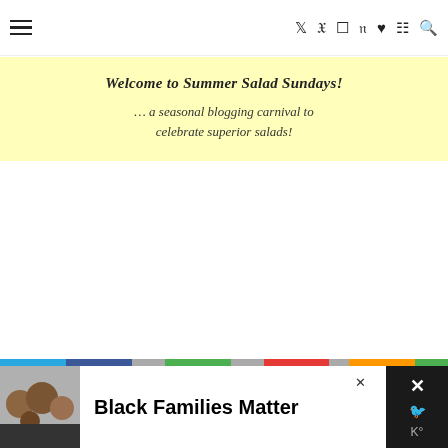Navigation bar with hamburger menu and social icons (Twitter, Facebook, Instagram, Pinterest, Heart, RSS, Search)
[Figure (infographic): Yellow banner with italic bold text: Welcome to Summer Salad Sundays! — a seasonal blogging carnival to celebrate superior salads!]
[Figure (infographic): Bottom advertisement banner: Black Families Matter ad with photo of smiling family, close button, and social media icons on right side]